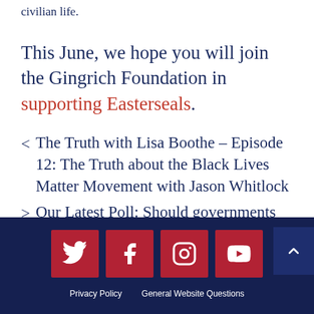civilian life.
This June, we hope you will join the Gingrich Foundation in supporting Easterseals.
< The Truth with Lisa Boothe – Episode 12: The Truth about the Black Lives Matter Movement with Jason Whitlock
> Our Latest Poll: Should governments and schools end mask requirements for children?
Privacy Policy   General Website Questions